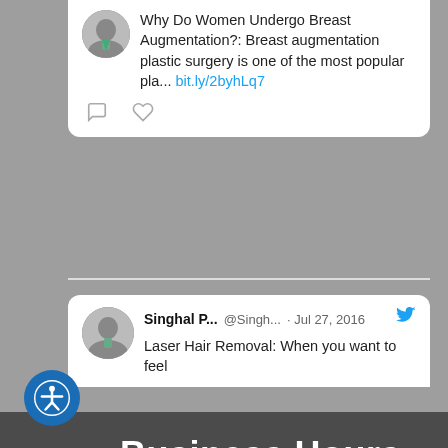[Figure (screenshot): Twitter/social media post screenshot: tweet about breast augmentation with avatar, tweet text, and interaction icons (comment, like)]
[Figure (screenshot): Twitter/social media post screenshot: Singhal P... @Singh... Jul 27, 2016 - Laser Hair Removal: When you want to feel...]
Business Hours
Monday 8-5
Tuesday 8-5
Wednesday 8-5
Thursday 8-5
Friday CLOSED